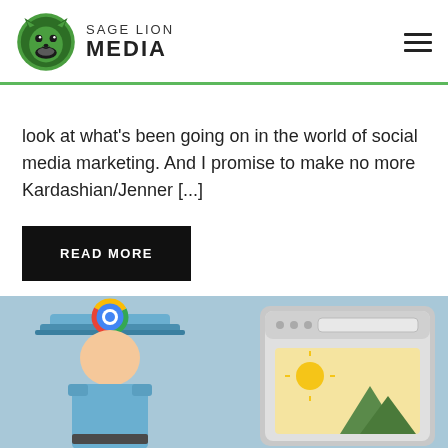SAGE LION MEDIA
look at what's been going on in the world of social media marketing. And I promise to make no more Kardashian/Jenner [...]
READ MORE
[Figure (illustration): Illustration showing a police officer character wearing a Google Chrome logo hat on the left, and a browser window with a sun and mountain image on the right, on a light blue background]